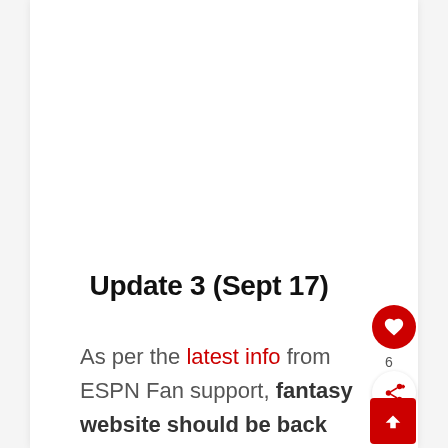Update 3 (Sept 17)
As per the latest info from ESPN Fan support, fantasy website should be back up now.